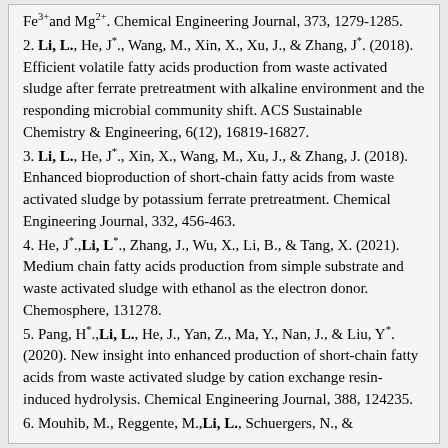Fe3+ and Mg2+. Chemical Engineering Journal, 373, 1279-1285.
2. Li, L., He, J*., Wang, M., Xin, X., Xu, J., & Zhang, J*. (2018). Efficient volatile fatty acids production from waste activated sludge after ferrate pretreatment with alkaline environment and the responding microbial community shift. ACS Sustainable Chemistry & Engineering, 6(12), 16819-16827.
3. Li, L., He, J*., Xin, X., Wang, M., Xu, J., & Zhang, J. (2018). Enhanced bioproduction of short-chain fatty acids from waste activated sludge by potassium ferrate pretreatment. Chemical Engineering Journal, 332, 456-463.
4. He, J*.,Li, L*., Zhang, J., Wu, X., Li, B., & Tang, X. (2021). Medium chain fatty acids production from simple substrate and waste activated sludge with ethanol as the electron donor. Chemosphere, 131278.
5. Pang, H*.,Li, L., He, J., Yan, Z., Ma, Y., Nan, J., & Liu, Y*. (2020). New insight into enhanced production of short-chain fatty acids from waste activated sludge by cation exchange resin-induced hydrolysis. Chemical Engineering Journal, 388, 124235.
6. Mouhib, M., Reggente, M.,Li, L., Schuergers, N., &